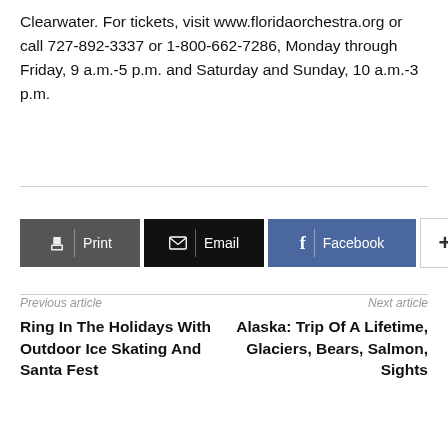Clearwater.  For tickets, visit www.floridaorchestra.org or call 727-892-3337 or 1-800-662-7286, Monday through Friday, 9 a.m.-5 p.m. and Saturday and Sunday, 10 a.m.-3 p.m.
[Figure (other): Share buttons row: Print (dark gray), Email (black), Facebook (blue), More/Plus (white with border)]
Previous article
Ring In The Holidays With Outdoor Ice Skating And Santa Fest
Next article
Alaska: Trip Of A Lifetime, Glaciers, Bears, Salmon, Sights